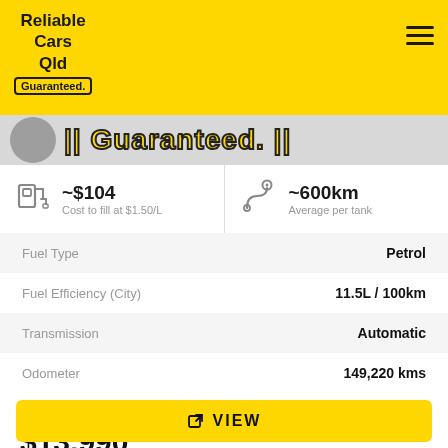Reliable Cars Qld — Guaranteed. [logo with hamburger menu]
[Figure (other): Guaranteed banner strip with circle icon and bold yellow text '|| Guaranteed. ||']
| ~$104 | Cost to fill at $1.50/L | ~600km | Average per tank |
|  |  |
| --- | --- |
| Fuel Type | Petrol |
| Fuel Efficiency (City) | 11.5L / 100km |
| Transmission | Automatic |
| Odometer | 149,220 kms |
USED VEHICLE
$13,990
VIEW